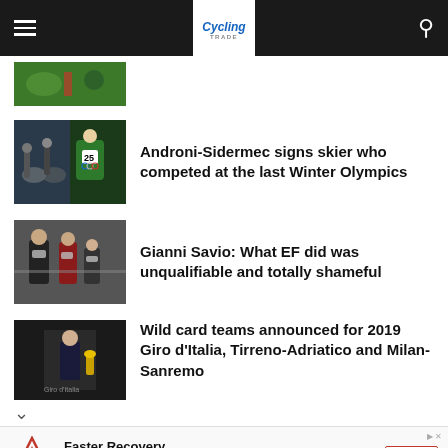Cycling (logo navigation bar)
[Figure (photo): Partial thumbnail of cycling image at top, cropped]
Androni-Sidermec signs skier who competed at the last Winter Olympics
[Figure (photo): Two side-by-side photos: cyclists racing in rain on left, skier with Olympic bib number 25 on right]
Gianni Savio: What EF did was unqualifiable and totally shameful
[Figure (photo): People in masks at an outdoor event, one appears to be speaking to another]
Wild card teams announced for 2019 Giro d’Italia, Tirreno-Adriatico and Milan-Sanremo
[Figure (photo): Man in suit standing on stage at Giro d’Italia event with trophy]
[Figure (infographic): Advertisement: AIRWAAV mouthpiece - Faster Recovery. The mouthpiece helps increase endurance, strength and provides faster recovery. Open button shown.]